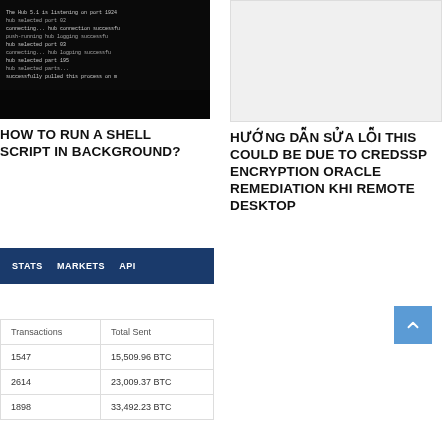[Figure (screenshot): Terminal/command line screenshot with white text on black background]
HOW TO RUN A SHELL SCRIPT IN BACKGROUND?
[Figure (other): Light grey placeholder image]
HƯỚNG DẪN SỬA LỖI THIS COULD BE DUE TO CREDSSP ENCRYPTION ORACLE REMEDIATION KHI REMOTE DESKTOP
[Figure (other): Stats widget with tabs: STATS, MARKETS, API on dark blue background]
| Transactions | Total Sent |
| --- | --- |
| 1547 | 15,509.96 BTC |
| 2614 | 23,009.37 BTC |
| 1898 | 33,492.23 BTC |